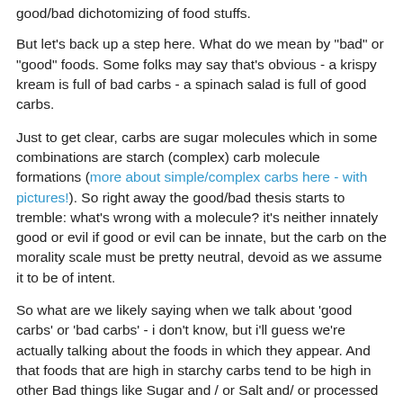good/bad dichotomizing of food stuffs.
But let's back up a step here. What do we mean by "bad" or "good" foods. Some folks may say that's obvious - a krispy kream is full of bad carbs - a spinach salad is full of good carbs.
Just to get clear, carbs are sugar molecules which in some combinations are starch (complex) carb molecule formations (more about simple/complex carbs here - with pictures!). So right away the good/bad thesis starts to tremble: what's wrong with a molecule? it's neither innately good or evil if good or evil can be innate, but the carb on the morality scale must be pretty neutral, devoid as we assume it to be of intent.
So what are we likely saying when we talk about 'good carbs' or 'bad carbs' - i don't know, but i'll guess we're actually talking about the foods in which they appear. And that foods that are high in starchy carbs tend to be high in other Bad things like Sugar and / or Salt and/ or processed white flour. Voila the donut or french baguette.